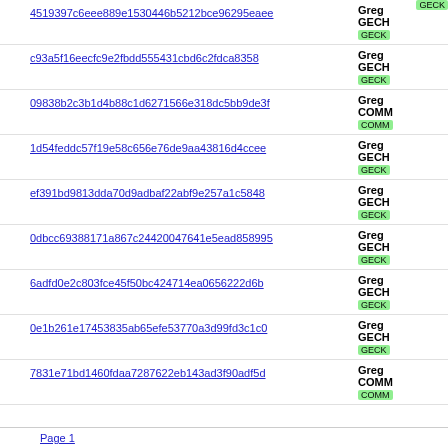GECK (top-right tag, truncated)
4519397c6eee889e1530446b5212bce96295eaee | Greg... GECH... GECK
c93a5f16eecfc9e2fbdd555431cbd6c2fdca8358 | Greg... GECH... GECK
09838b2c3b1d4b88c1d6271566e318dc5bb9de3f | Greg... COMM... COMM
1d54feddc57f19e58c656e76de9aa43816d4ccee | Greg... GECH... GECK
ef391bd9813dda70d9adbaf22abf9e257a1c5848 | Greg... GECH... GECK
0dbcc69388171a867c24420047641e5ead858995 | Greg... GECH... GECK
6adfd0e2c803fce45f50bc424714ea0656222d6b | Greg... GECH... GECK
0e1b261e17453835ab65efe53770a3d99fd3c1c0 | Greg... GECH... GECK
7831e71bd1460fdaa7287622eb143ad3f90adf5d | Greg... COMM... COMM
Page 1